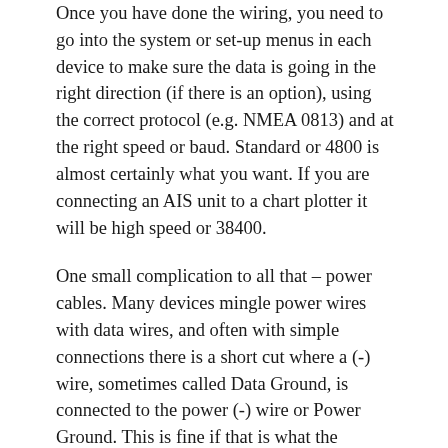Once you have done the wiring, you need to go into the system or set-up menus in each device to make sure the data is going in the right direction (if there is an option), using the correct protocol (e.g. NMEA 0813) and at the right speed or baud. Standard or 4800 is almost certainly what you want. If you are connecting an AIS unit to a chart plotter it will be high speed or 38400.
One small complication to all that – power cables. Many devices mingle power wires with data wires, and often with simple connections there is a short cut where a (-) wire, sometimes called Data Ground, is connected to the power (-) wire or Power Ground. This is fine if that is what the manual says, and if so make sure both devices are doing the same thing with their Data Ground wires or they won't meet up.
Just in case you thought wires were wires, not always. Some cables are made up of a plastic sheath over a wire braid which surrounds a bunch of wires for physical or